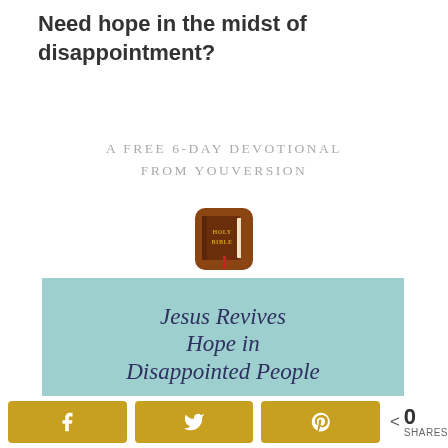Need hope in the midst of disappointment?
A Free 6-Day Devotional From YouVersion
[Figure (illustration): Holy Bible app icon — brown book cover with HOLY BIBLE text in gold letters and a red ribbon bookmark]
[Figure (illustration): Teal/mint colored banner with cursive script text reading: Jesus Revives Hope in Disappointed People]
0 SHARES